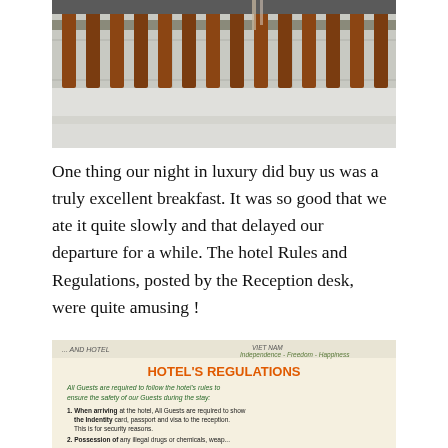[Figure (photo): Photograph of a hotel balcony with wooden railings and concrete overhang, viewed from below/outside.]
One thing our night in luxury did buy us was a truly excellent breakfast. It was so good that we ate it quite slowly and that delayed our departure for a while. The hotel Rules and Regulations, posted by the Reception desk, were quite amusing !
[Figure (photo): Photograph of a hotel regulations notice in Vietnam, titled HOTEL'S REGULATIONS with text about rules for guests including showing identity card, passport and visa, and possession of illegal drugs or chemicals.]